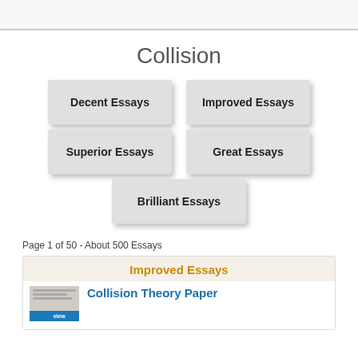Collision
Decent Essays
Improved Essays
Superior Essays
Great Essays
Brilliant Essays
Page 1 of 50 - About 500 Essays
Improved Essays
Collision Theory Paper